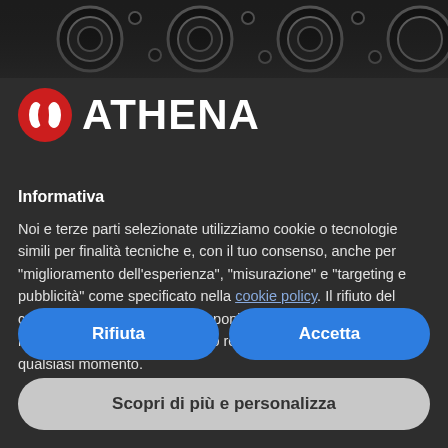[Figure (photo): Dark background showing part of an Athena engine gasket product — black metallic circular gasket pattern against dark background]
[Figure (logo): Athena logo: red circular icon with white curved lines and white bold text ATHENA]
Informativa
Noi e terze parti selezionate utilizziamo cookie o tecnologie simili per finalità tecniche e, con il tuo consenso, anche per "miglioramento dell'esperienza", "misurazione" e "targeting e pubblicità" come specificato nella cookie policy. Il rifiuto del consenso può rendere non disponibili le relative funzioni. Puoi liberamente prestare, rifiutare o revocare il tuo consenso, in qualsiasi momento.
Rifiuta
Accetta
Scopri di più e personalizza